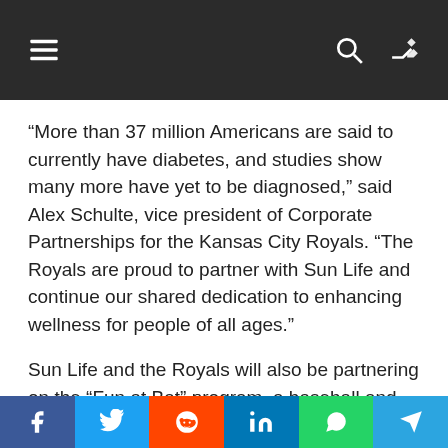Navigation bar with hamburger menu, search, and shuffle icons
“More than 37 million Americans are said to currently have diabetes, and studies show many more have yet to be diagnosed,” said Alex Schulte, vice president of Corporate Partnerships for the Kansas City Royals. “The Royals are proud to partner with Sun Life and continue our shared dedication to enhancing wellness for people of all ages.”
Sun Life and the Royals will also be partnering on the “Fun at Bat” program, a baseball and softball education curriculum created by USA Baseball, and part of the Royals’ Crown Schools program. Fun at Bat is designed to introduce students to
Social share buttons: Facebook, Twitter, Reddit, LinkedIn, WhatsApp, Telegram